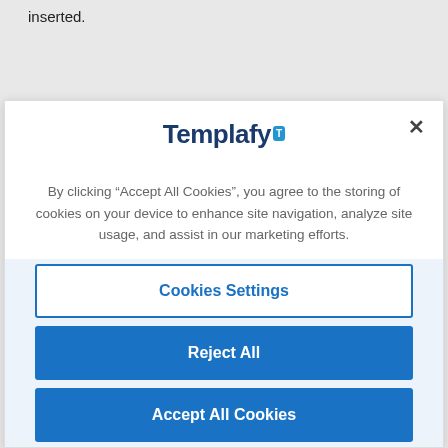inserted.
[Figure (screenshot): Templafy cookie consent modal dialog with logo, cookie notice text, and three buttons: Cookies Settings, Reject All, Accept All Cookies]
By clicking “Accept All Cookies”, you agree to the storing of cookies on your device to enhance site navigation, analyze site usage, and assist in our marketing efforts.
Cookies Settings
Reject All
Accept All Cookies